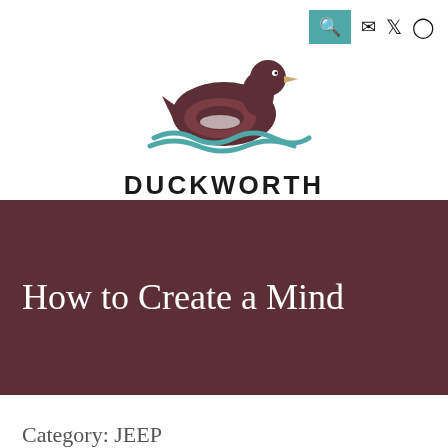[Figure (logo): Duckworth logo: a brown duck silhouette sitting on teal water waves, with the text DUCKWORTH in bold black letters below, and MENU in brown spaced capitals beneath that.]
How to Create a Mind
Category: JEEP